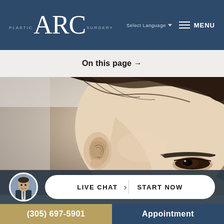PLASTIC ARC SURGERY | Select Language | MENU
On this page →
[Figure (photo): Close-up photo of a woman's face showing her ear, profile, and eye with dark hair pulled back — used for a plastic surgery / otoplasty page]
LIVE CHAT | START NOW
(305) 697-5901 | Appointment